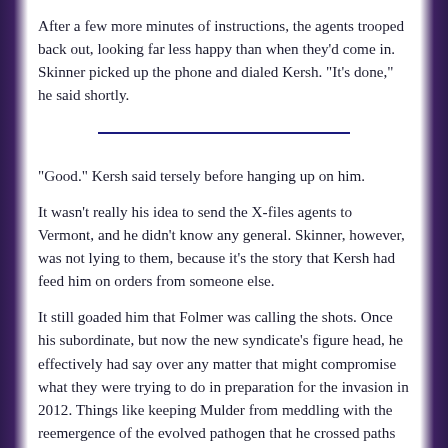After a few more minutes of instructions, the agents trooped back out, looking far less happy than when they'd come in. Skinner picked up the phone and dialed Kersh. "It's done," he said shortly.
"Good." Kersh said tersely before hanging up on him.
It wasn't really his idea to send the X-files agents to Vermont, and he didn't know any general. Skinner, however, was not lying to them, because it's the story that Kersh had feed him on orders from someone else.
It still goaded him that Folmer was calling the shots. Once his subordinate, but now the new syndicate's figure head, he effectively had say over any matter that might compromise what they were trying to do in preparation for the invasion in 2012. Things like keeping Mulder from meddling with the reemergence of the evolved pathogen that he crossed paths with several years earlier.
Mulder's leap was the correct one, but he didn't have it quite right. It hadn't burst from the chest of the man he'd been sent pictures